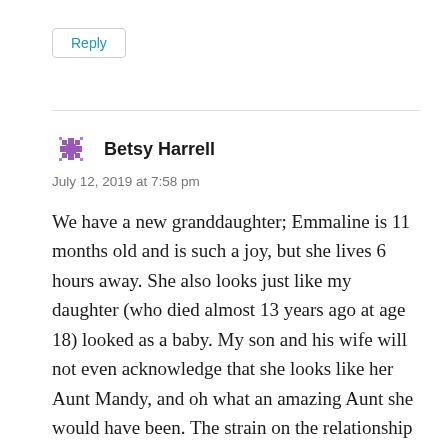Reply
Betsy Harrell
July 12, 2019 at 7:58 pm
We have a new granddaughter; Emmaline is 11 months old and is such a joy, but she lives 6 hours away. She also looks just like my daughter (who died almost 13 years ago at age 18) looked as a baby. My son and his wife will not even acknowledge that she looks like her Aunt Mandy, and oh what an amazing Aunt she would have been. The strain on the relationship between my son and me since